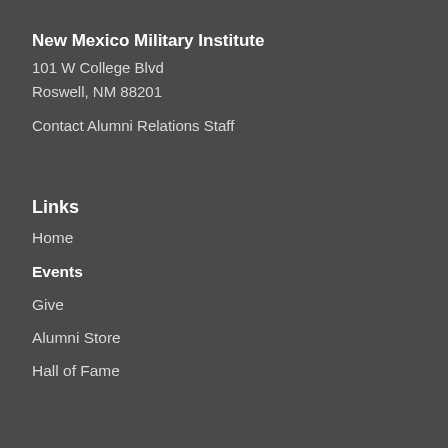New Mexico Military Institute
101 W College Blvd
Roswell, NM 88201
Contact Alumni Relations Staff
Links
Home
Events
Give
Alumni Store
Hall of Fame